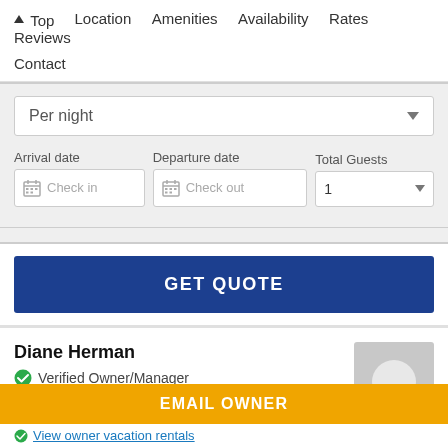↑ Top   Location   Amenities   Availability   Rates   Reviews   Contact
Per night
Arrival date
Check in
Departure date
Check out
Total Guests
1
GET QUOTE
Diane Herman
Verified Owner/Manager
EMAIL OWNER
View owner vacation rentals